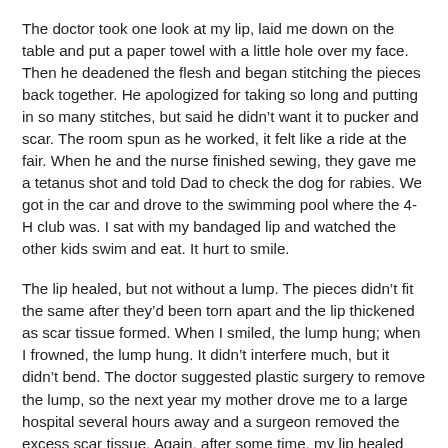The doctor took one look at my lip, laid me down on the table and put a paper towel with a little hole over my face. Then he deadened the flesh and began stitching the pieces back together. He apologized for taking so long and putting in so many stitches, but said he didn't want it to pucker and scar. The room spun as he worked, it felt like a ride at the fair. When he and the nurse finished sewing, they gave me a tetanus shot and told Dad to check the dog for rabies. We got in the car and drove to the swimming pool where the 4-H club was. I sat with my bandaged lip and watched the other kids swim and eat. It hurt to smile.
The lip healed, but not without a lump. The pieces didn't fit the same after they'd been torn apart and the lip thickened as scar tissue formed. When I smiled, the lump hung; when I frowned, the lump hung. It didn't interfere much, but it didn't bend. The doctor suggested plastic surgery to remove the lump, so the next year my mother drove me to a large hospital several hours away and a surgeon removed the excess scar tissue. Again, after some time, my lip healed and today, other than having one extra deep laugh-line from